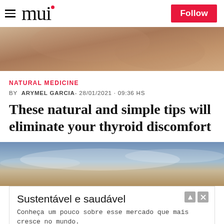mui
[Figure (photo): Close-up photo of a person's neck/throat area, skin tones in warm browns]
NATURAL MEDICINE
BY ARYMEL GARCIA- 28/01/2021 · 09:36 HS
These natural and simple tips will eliminate your thyroid discomfort
[Figure (photo): Landscape photo with sky and clouds in golden hour tones]
Sustentável e saudável
Conheça um pouco sobre esse mercado que mais cresce no mundo.
plantbasedbr.com
OPEN